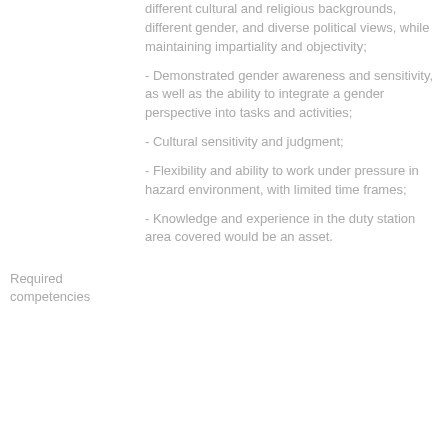different cultural and religious backgrounds, different gender, and diverse political views, while maintaining impartiality and objectivity;
- Demonstrated gender awareness and sensitivity, as well as the ability to integrate a gender perspective into tasks and activities;
- Cultural sensitivity and judgment;
- Flexibility and ability to work under pressure in hazard environment, with limited time frames;
- Knowledge and experience in the duty station area covered would be an asset.
Required competencies
Core values
Commitment: Actively contributes to achieving organizational goals
Diversity: Respects others and values their diverse perspectives and contributions